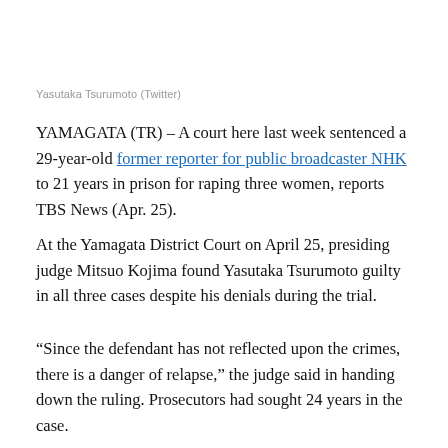Yasutaka Tsurumoto (Twitter)
YAMAGATA (TR) – A court here last week sentenced a 29-year-old former reporter for public broadcaster NHK to 21 years in prison for raping three women, reports TBS News (Apr. 25).
At the Yamagata District Court on April 25, presiding judge Mitsuo Kojima found Yasutaka Tsurumoto guilty in all three cases despite his denials during the trial.
“Since the defendant has not reflected upon the crimes, there is a danger of relapse,” the judge said in handing down the ruling. Prosecutors had sought 24 years in the case.